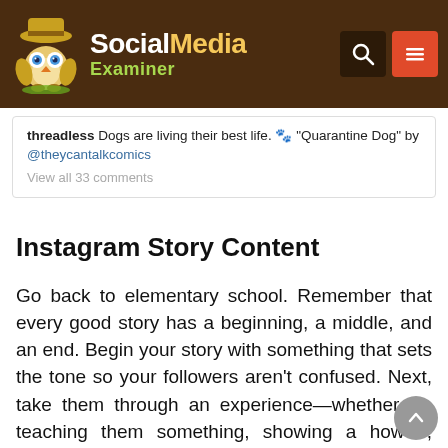Social Media Examiner
threadless Dogs are living their best life. 🐾 "Quarantine Dog" by @theycantalkcomics
View all 33 comments
Instagram Story Content
Go back to elementary school. Remember that every good story has a beginning, a middle, and an end. Begin your story with something that sets the tone so your followers aren't confused. Next, take them through an experience—whether it's teaching them something, showing a how-to, relating a "day in the life," whatever it may be—throughout the entire story. Finally, you have to wrap that story up at the very end.